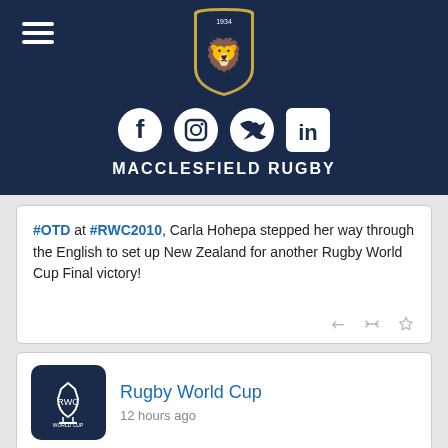MACCLESFIELD RUGBY
[Figure (logo): Macclesfield Rugby crest shield logo with lion, dated 1934, on dark navy background, with social media icons (Facebook, Instagram, Twitter, LinkedIn) below]
#OTD at #RWC2010, Carla Hohepa stepped her way through the English to set up New Zealand for another Rugby World Cup Final victory!
[Figure (logo): Rugby World Cup official logo on dark navy square background]
Rugby World Cup
12 hours ago